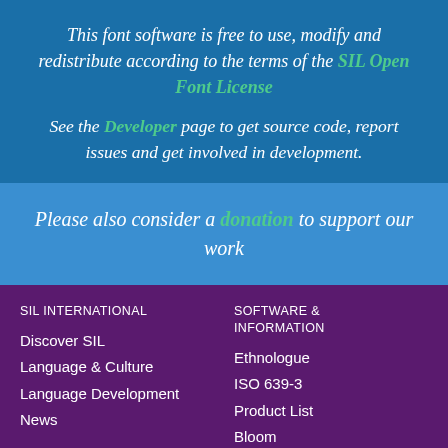This font software is free to use, modify and redistribute according to the terms of the SIL Open Font License
See the Developer page to get source code, report issues and get involved in development.
Please also consider a donation to support our work
SIL INTERNATIONAL
Discover SIL
Language & Culture
Language Development
News
SOFTWARE & INFORMATION
Ethnologue
ISO 639-3
Product List
Bloom
WeSay
FieldWorks Language